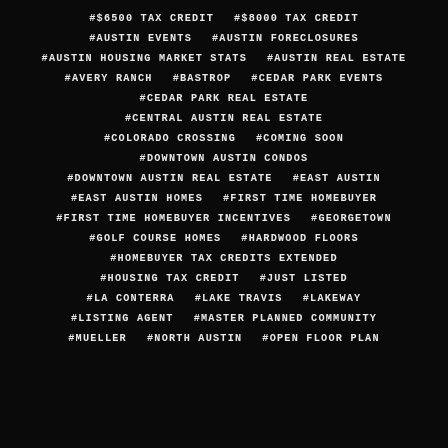#$6500 TAX CREDIT   #$8000 TAX CREDIT
#AUSTIN EVENTS   #AUSTIN FORECLOSURES
#AUSTIN HOUSING MARKET STATS   #AUSTIN REAL ESTATE
#AVERY RANCH   #BASTROP   #CEDAR PARK EVENTS
#CEDAR PARK REAL ESTATE
#CENTRAL AUSTIN REAL ESTATE
#COLORADO CROSSING   #COMING SOON
#DOWNTOWN AUSTIN CONDOS
#DOWNTOWN AUSTIN REAL ESTATE   #EAST AUSTIN
#EAST AUSTIN HOMES   #FIRST TIME HOMEBUYER
#FIRST TIME HOMEBUYER INCENTIVES   #GEORGETOWN
#GOLF COURSE HOMES   #HARDWOOD FLOORS
#HOMEBUYER TAX CREDITS EXTENDED
#HOUSING TAX CREDIT   #JUST LISTED
#LA CONTERRA   #LAKE TRAVIS   #LAKEWAY
#LISTING AGENT   #MASTER PLANNED COMMUNITY
#MUELLER   #NORTH AUSTIN   #OPEN FLOOR PLAN